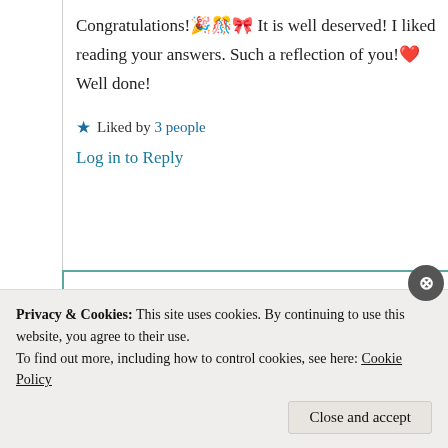Congratulations!🎉🎊🎀 It is well deserved! I liked reading your answers. Such a reflection of you!❤️ Well done!
★ Liked by 3 people
Log in to Reply
Suma Reddy
22nd Jun 2021 at 4:09 am
Privacy & Cookies: This site uses cookies. By continuing to use this website, you agree to their use.
To find out more, including how to control cookies, see here: Cookie Policy
Close and accept